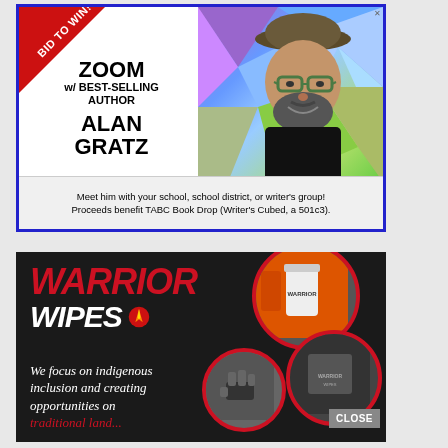[Figure (infographic): Advertisement: Bid to Win Zoom call with best-selling author Alan Gratz. Shows text 'ZOOM w/ BEST-SELLING AUTHOR ALAN GRATZ' on left with a red diagonal 'BID TO WIN!' banner, and a photo of a bearded man with glasses and a hat on a colorful geometric background on the right. Caption: Meet him with your school, school district, or writer's group! Proceeds benefit TABC Book Drop (Writer's Cubed, a 501c3).]
[Figure (infographic): Advertisement for Warrior Wipes on dark background. Large italic red text 'WARRIOR' and white 'WIPES' with a flame logo. Italic cursive white/red text: 'We focus on indigenous inclusion and creating opportunities on traditional land...' Three circular photos showing product handling, a bucket, and a person in a store. 'CLOSE' button bottom right.]